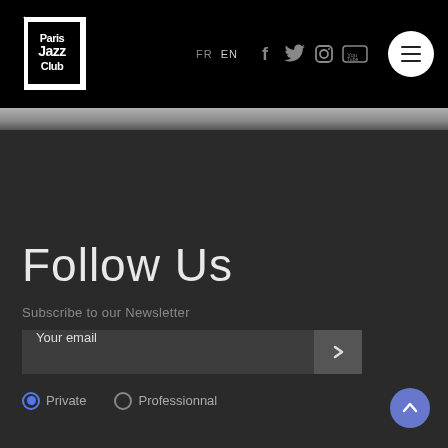[Figure (logo): Paris Jazz Club logo — white angular text on black background]
FR  EN  [Facebook] [Twitter] [Instagram] [YouTube] [Menu]
Follow Us
Subscribe to our Newsletter
Your email
Private   Professionnal